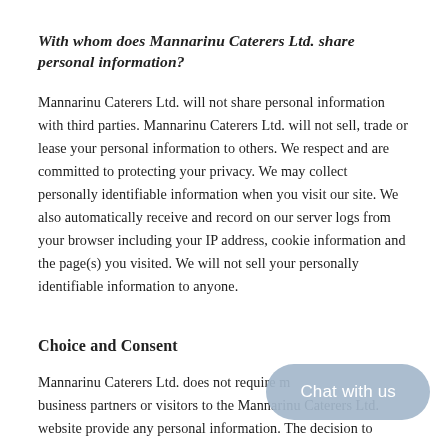With whom does Mannarinu Caterers Ltd. share personal information?
Mannarinu Caterers Ltd. will not share personal information with third parties. Mannarinu Caterers Ltd. will not sell, trade or lease your personal information to others. We respect and are committed to protecting your privacy. We may collect personally identifiable information when you visit our site. We also automatically receive and record on our server logs from your browser including your IP address, cookie information and the page(s) you visited. We will not sell your personally identifiable information to anyone.
Choice and Consent
Mannarinu Caterers Ltd. does not require members, business partners or visitors to the Mannarinu Caterers Ltd. website provide any personal information. The decision to